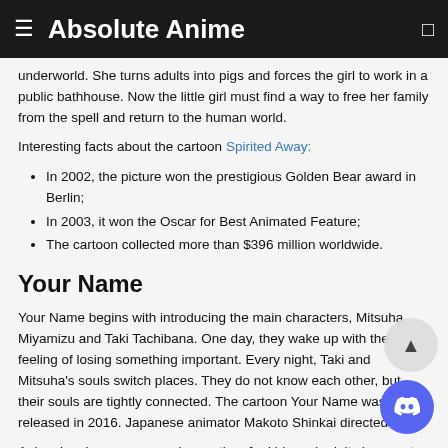Absolute Anime
underworld. She turns adults into pigs and forces the girl to work in a public bathhouse. Now the little girl must find a way to free her family from the spell and return to the human world.
Interesting facts about the cartoon Spirited Away:
In 2002, the picture won the prestigious Golden Bear award in Berlin;
In 2003, it won the Oscar for Best Animated Feature;
The cartoon collected more than $396 million worldwide.
Your Name
Your Name begins with introducing the main characters, Mitsuha Miyamizu and Taki Tachibana. One day, they wake up with the feeling of losing something important. Every night, Taki and Mitsuha's souls switch places. They do not know each other, but their souls are tightly connected. The cartoon Your Name was released in 2016. Japanese animator Makoto Shinkai directed it.
Anime has become a popular pastime for kids and adults in recent years. Dramatic stories and unique characters can hook almost every viewer. Not surprisingly, well-known casino providers have created many slot machines based on anime. You can find them at interac casinos canada, which offers hundreds of games of chance. The most famous anime slot machines are Princess, Ninja Ways, Koi Princess, Lucky Little Gods, and others. Anime si...